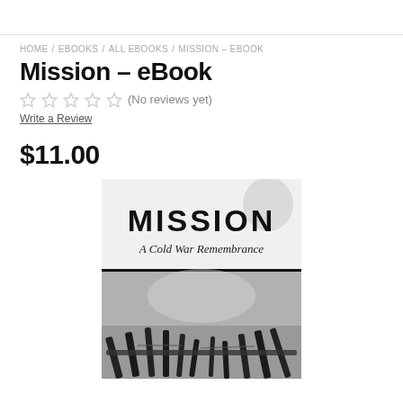HOME / EBOOKS / ALL EBOOKS / MISSION – EBOOK
Mission – eBook
★★★★★ (No reviews yet)
Write a Review
$11.00
[Figure (photo): Book cover for 'Mission: A Cold War Remembrance' showing the title in bold brush lettering at the top on a light background, and a black and white photograph below showing military equipment (gun barrels/anti-aircraft weapons) against a blurred sky background.]